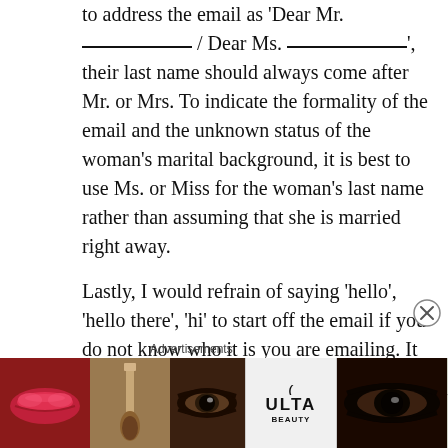to address the email as 'Dear Mr. __________ / Dear Ms. __________', their last name should always come after Mr. or Mrs. To indicate the formality of the email and the unknown status of the woman's marital background, it is best to use Ms. or Miss for the woman's last name rather than assuming that she is married right away.
Lastly, I would refrain of saying 'hello', 'hello there', 'hi' to start off the email if you do not know who it is you are emailing. It is best to instead go with good morning / good afternoon or even good evening depending
[Figure (other): ULTA Beauty advertisement banner with makeup imagery (lips, brush, eyes) and 'SHOP NOW' call to action]